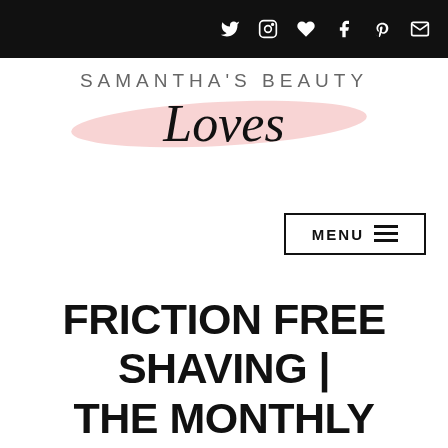Social media icons bar (Twitter, Instagram, Heart, Facebook, Pinterest, Email)
[Figure (logo): Samantha's Beauty Loves blog logo with script lettering on a pink brush stroke background]
MENU ≡
FRICTION FREE SHAVING | THE MONTHLY SUBSCRIPTION YOU NEED*